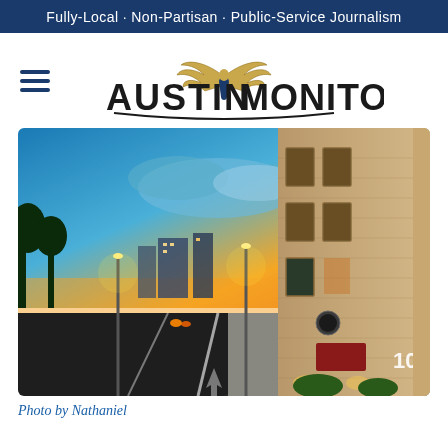Fully-Local · Non-Partisan · Public-Service Journalism
[Figure (logo): Austin Monitor logo with hamburger menu icon on the left, eagle wings above text reading AUSTIN MONITOR]
[Figure (photo): Street-level dusk photo of an Austin city street with a brick building on the right illuminated by warm lights, streetlights glowing, and a colorful sunset sky. Number 1010 visible on the building.]
Photo by Nathaniel